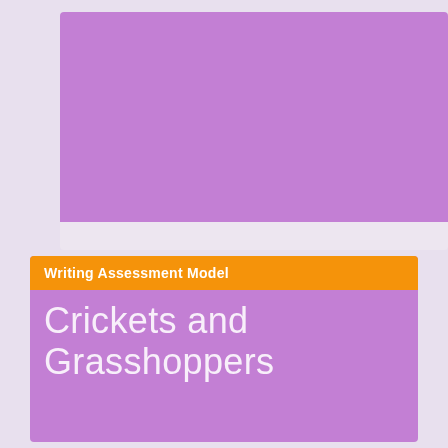[Figure (illustration): Top purple card area with light lavender background]
Writing Assessment Model
Crickets and Grasshoppers